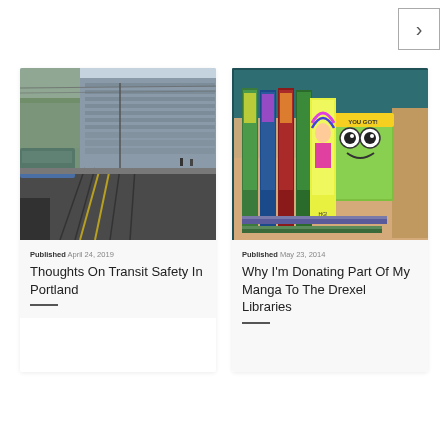[Figure (other): Navigation arrow button pointing right, bordered box in top right corner]
[Figure (photo): Street-level photo of a light rail tram station with modern glass building in background, Portland transit]
Published April 24, 2019
Thoughts On Transit Safety In Portland
[Figure (photo): Photo of manga/comic books in a cardboard box, colorful covers visible]
Published May 23, 2014
Why I'm Donating Part Of My Manga To The Drexel Libraries